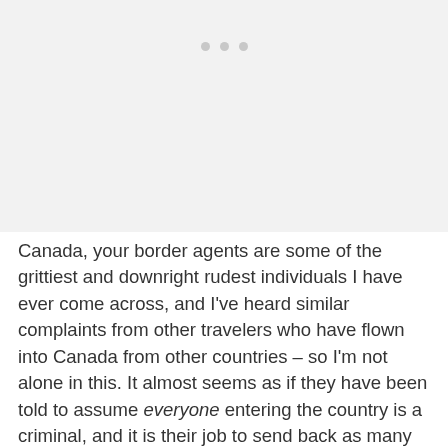[Figure (other): Light gray placeholder image area with three small gray dots near the top center, suggesting a loading or placeholder image carousel.]
Canada, your border agents are some of the grittiest and downright rudest individuals I have ever come across, and I've heard similar complaints from other travelers who have flown into Canada from other countries – so I'm not alone in this. It almost seems as if they have been told to assume everyone entering the country is a criminal, and it is their job to send back as many annoying and trouble-making tourists as they can.